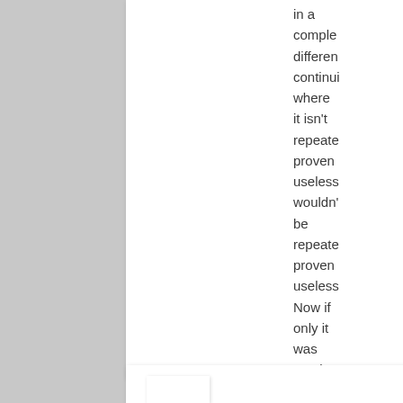in a completely different continuity where it isn't repeated proven useless wouldn't be repeated proven useless Now if only it was used by Batman it actually affected